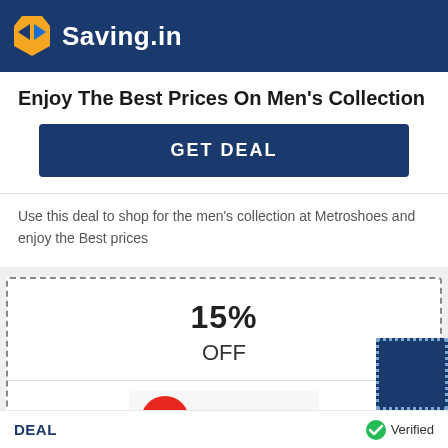Saving.in
Enjoy The Best Prices On Men's Collection
GET DEAL
Use this deal to shop for the men's collection at Metroshoes and enjoy the Best prices
15% OFF
[Figure (logo): METRO shoes brand logo — red circular icon with M and METRO text]
DEAL
Verified